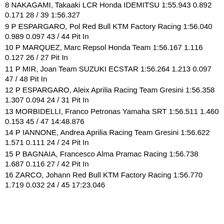8 NAKAGAMI, Takaaki LCR Honda IDEMITSU 1:55.943 0.892 0.171 28 / 39 1:56.327
9 P ESPARGARO, Pol Red Bull KTM Factory Racing 1:56.040 0.989 0.097 43 / 44 Pit In
10 P MARQUEZ, Marc Repsol Honda Team 1:56.167 1.116 0.127 26 / 27 Pit In
11 P MIR, Joan Team SUZUKI ECSTAR 1:56.264 1.213 0.097 47 / 48 Pit In
12 P ESPARGARO, Aleix Aprilia Racing Team Gresini 1:56.358 1.307 0.094 24 / 31 Pit In
13 MORBIDELLI, Franco Petronas Yamaha SRT 1:56.511 1.460 0.153 45 / 47 14:48.876
14 P IANNONE, Andrea Aprilia Racing Team Gresini 1:56.622 1.571 0.111 24 / 24 Pit In
15 P BAGNAIA, Francesco Alma Pramac Racing 1:56.738 1.687 0.116 27 / 42 Pit In
16 ZARCO, Johann Red Bull KTM Factory Racing 1:56.770 1.719 0.032 24 / 45 17:23.046